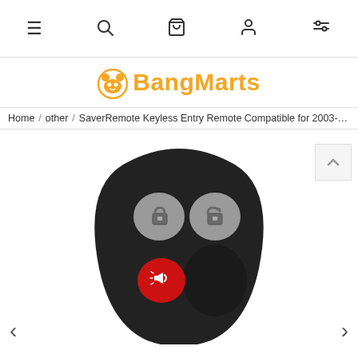Navigation bar with menu, search, cart, account, and filter icons
[Figure (logo): BangMarts logo with orange panda icon and orange bold text]
Home / other / SaverRemote Keyless Entry Remote Compatible for 2003-200
[Figure (photo): A black 3-button car keyless entry remote fob with two gray buttons (lock and unlock with padlock icons) and one red alarm/panic button with a horn icon]